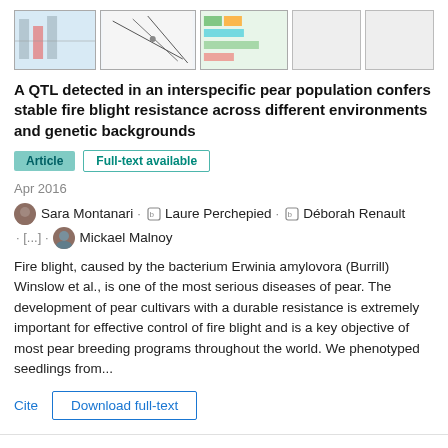[Figure (other): Strip of thumbnail images: charts and diagrams related to the article, and two grey placeholder boxes]
A QTL detected in an interspecific pear population confers stable fire blight resistance across different environments and genetic backgrounds
Article
Full-text available
Apr 2016
Sara Montanari · Laure Perchepied · Déborah Renault · [...] · Mickael Malnoy
Fire blight, caused by the bacterium Erwinia amylovora (Burrill) Winslow et al., is one of the most serious diseases of pear. The development of pear cultivars with a durable resistance is extremely important for effective control of fire blight and is a key objective of most pear breeding programs throughout the world. We phenotyped seedlings from...
Cite
Download full-text
Supplementary Table S4
Data
Jan 2016